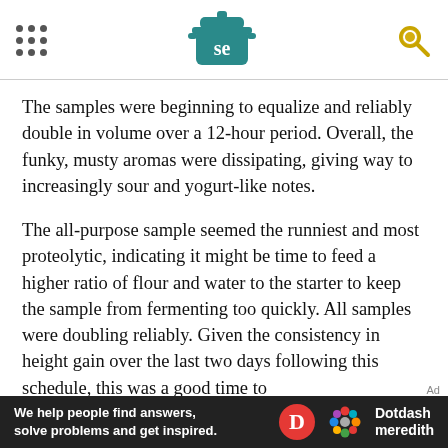Serious Eats header with navigation dots, SE logo, and search icon
The samples were beginning to equalize and reliably double in volume over a 12-hour period. Overall, the funky, musty aromas were dissipating, giving way to increasingly sour and yogurt-like notes.
The all-purpose sample seemed the runniest and most proteolytic, indicating it might be time to feed a higher ratio of flour and water to the starter to keep the sample from fermenting too quickly. All samples were doubling reliably. Given the consistency in height gain over the last two days following this schedule, this was a good time to
[Figure (logo): Dotdash Meredith advertisement banner with text 'We help people find answers, solve problems and get inspired.']